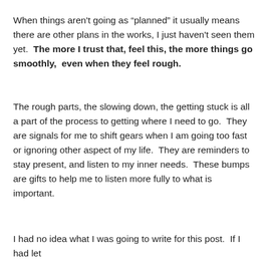When things aren't going as “planned” it usually means there are other plans in the works, I just haven't seen them yet.  The more I trust that, feel this, the more things go smoothly,  even when they feel rough.
The rough parts, the slowing down, the getting stuck is all a part of the process to getting where I need to go.  They are signals for me to shift gears when I am going too fast or ignoring other aspect of my life.  They are reminders to stay present, and listen to my inner needs.  These bumps are gifts to help me to listen more fully to what is important.
I had no idea what I was going to write for this post.  If I had let my inner critic have its way, it would have been something. “Af...